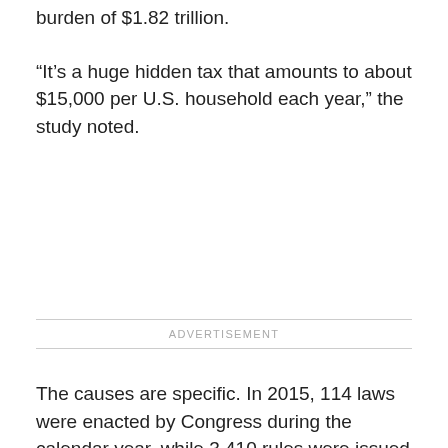burden of $1.82 trillion.
“It’s a huge hidden tax that amounts to about $15,000 per U.S. household each year,” the study noted.
ADVERTISEMENT
The causes are specific. In 2015, 114 laws were enacted by Congress during the calendar year, while 3,410 rules were issued by 60 federal agencies, departments and commissions. Their demands can have collateral damage. Some examples: the cost of complying with economic regulations like market entry restrictions and price supports weigh in at $399 billion, environmental